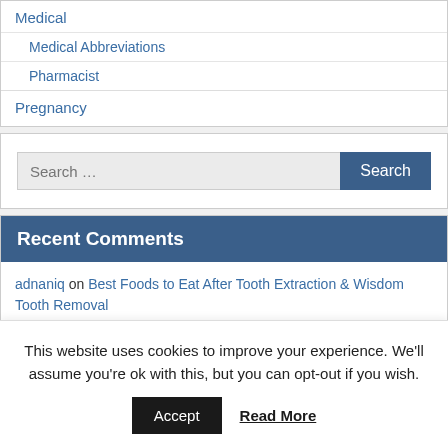Medical
Medical Abbreviations
Pharmacist
Pregnancy
Search …
Recent Comments
adnaniq on Best Foods to Eat After Tooth Extraction & Wisdom Tooth Removal
Nope on Best Foods to Eat After Tooth Extraction & Wisdom Tooth Removal
This website uses cookies to improve your experience. We'll assume you're ok with this, but you can opt-out if you wish.